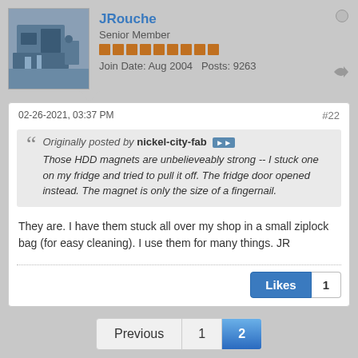JRouche
Senior Member
Join Date: Aug 2004   Posts: 9263
02-26-2021, 03:37 PM
#22
Originally posted by nickel-city-fab
Those HDD magnets are unbelieveably strong -- I stuck one on my fridge and tried to pull it off. The fridge door opened instead. The magnet is only the size of a fingernail.
They are. I have them stuck all over my shop in a small ziplock bag (for easy cleaning). I use them for many things. JR
Likes 1
Previous  1  2